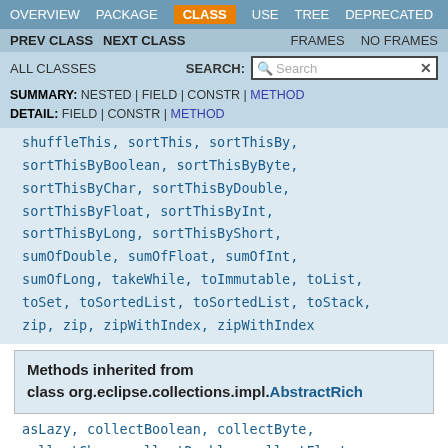OVERVIEW  PACKAGE  CLASS  USE  TREE  DEPRECATED
PREV CLASS  NEXT CLASS  FRAMES  NO FRAMES
ALL CLASSES  SEARCH:
SUMMARY: NESTED | FIELD | CONSTR | METHOD  DETAIL: FIELD | CONSTR | METHOD
shuffleThis, sortThis, sortThisBy, sortThisByBoolean, sortThisByByte, sortThisByChar, sortThisByDouble, sortThisByFloat, sortThisByInt, sortThisByLong, sortThisByShort, sumOfDouble, sumOfFloat, sumOfInt, sumOfLong, takeWhile, toImmutable, toList, toSet, toSortedList, toSortedList, toStack, zip, zip, zipWithIndex, zipWithIndex
Methods inherited from class org.eclipse.collections.impl.AbstractRich
asLazy, collectBoolean, collectByte, collectChar, collectDouble, collectFloat, collectInt, collectLong, collectShort,